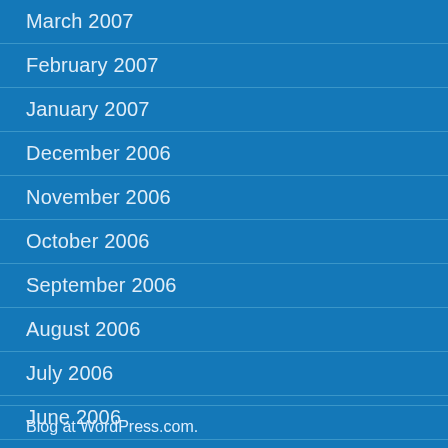March 2007
February 2007
January 2007
December 2006
November 2006
October 2006
September 2006
August 2006
July 2006
June 2006
Blog at WordPress.com.